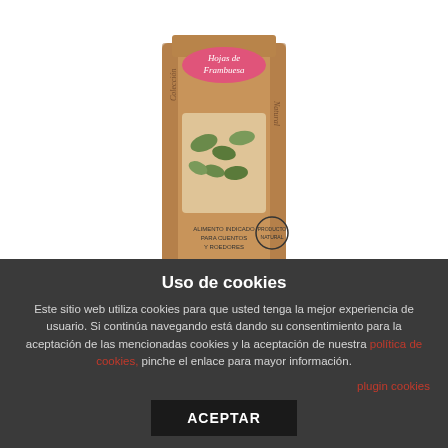[Figure (photo): A kraft paper bag product labeled 'Hojas de Frambuesa' (Raspberry Leaves) with dried leaves visible through a window in the packaging. The bag has decorative script text and a stamp-style logo.]
Raspberry Leaves
Complementary food composed of Raspberry Leaves.
Uso de cookies
Este sitio web utiliza cookies para que usted tenga la mejor experiencia de usuario. Si continúa navegando está dando su consentimiento para la aceptación de las mencionadas cookies y la aceptación de nuestra política de cookies, pinche el enlace para mayor información.
plugin cookies
ACEPTAR